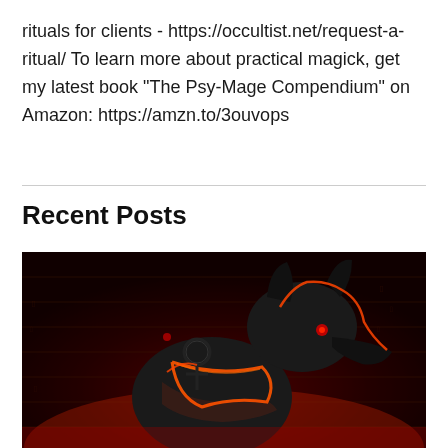rituals for clients - https://occultist.net/request-a-ritual/ To learn more about practical magick, get my latest book "The Psy-Mage Compendium" on Amazon: https://amzn.to/3ouvops
Recent Posts
[Figure (photo): A dark 3D rendered image of Anubis (Egyptian jackal-headed deity) with glowing red/orange neon lines on a dark brick background with hieroglyphics.]